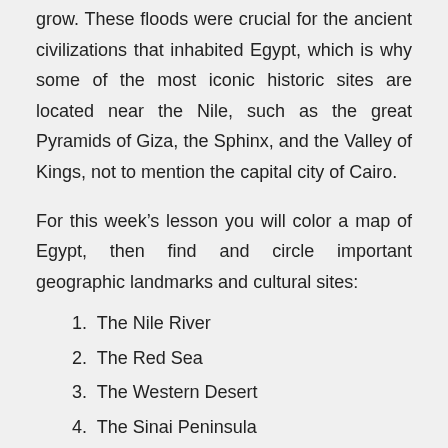grow. These floods were crucial for the ancient civilizations that inhabited Egypt, which is why some of the most iconic historic sites are located near the Nile, such as the great Pyramids of Giza, the Sphinx, and the Valley of Kings, not to mention the capital city of Cairo.
For this week’s lesson you will color a map of Egypt, then find and circle important geographic landmarks and cultural sites:
1. The Nile River
2. The Red Sea
3. The Western Desert
4. The Sinai Peninsula
5. The Mediterranean Sea